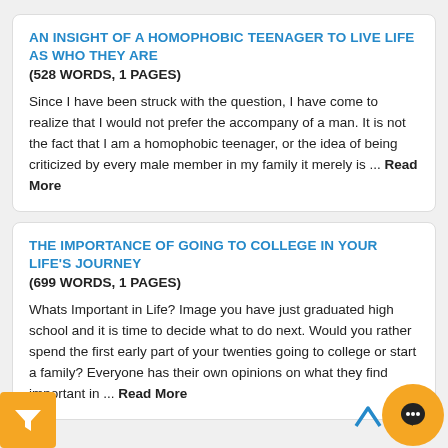AN INSIGHT OF A HOMOPHOBIC TEENAGER TO LIVE LIFE AS WHO THEY ARE
(528 WORDS, 1 PAGES)
Since I have been struck with the question, I have come to realize that I would not prefer the accompany of a man. It is not the fact that I am a homophobic teenager, or the idea of being criticized by every male member in my family it merely is ... Read More
THE IMPORTANCE OF GOING TO COLLEGE IN YOUR LIFE'S JOURNEY
(699 WORDS, 1 PAGES)
Whats Important in Life? Image you have just graduated high school and it is time to decide what to do next. Would you rather spend the first early part of your twenties going to college or start a family? Everyone has their own opinions on what they find important in ... Read More